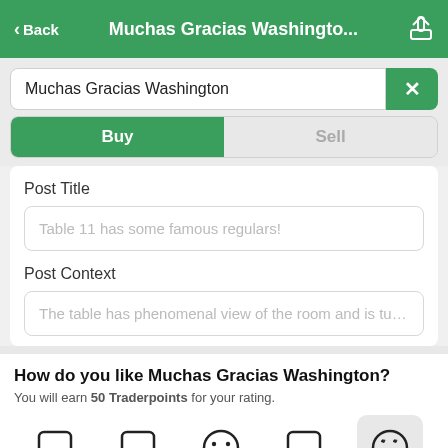Back | Muchas Gracias Washingto...
Muchas Gracias Washington
Buy | Sell
Post Title
Table 11 has some famous regulars!
Post Context
The table has phenomenal view of the room and is tucked
How do you like Muchas Gracias Washington?
You will earn 50 Traderpoints for your rating.
[Figure (other): Five emoji rating buttons in a row; the last one (smiley face with heart eyes) is highlighted with a grey background]